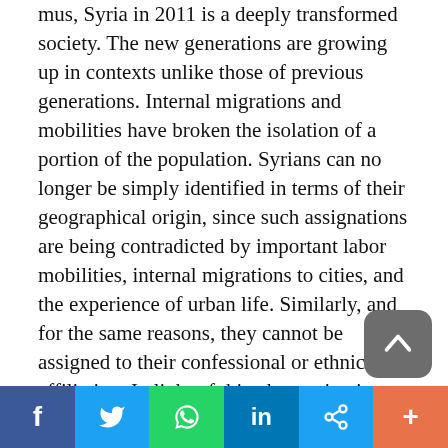mus, Syria in 2011 is a deeply transformed society. The new generations are growing up in contexts unlike those of previous generations. Internal migrations and mobilities have broken the isolation of a portion of the population. Syrians can no longer be simply identified in terms of their geographical origin, since such assignations are being contradicted by important labor mobilities, internal migrations to cities, and the experience of urban life. Similarly, and for the same reasons, they cannot be assigned to their confessional or ethnic affiliation. In light of this, the motivations